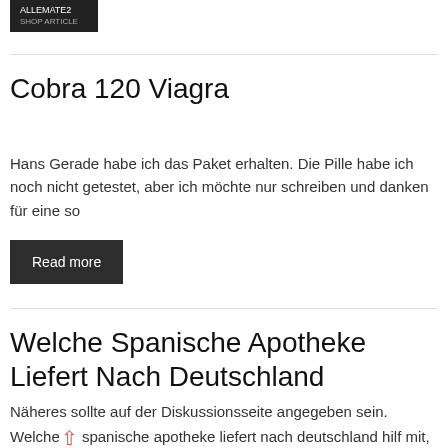[Figure (screenshot): Dark button/label at top left, partially visible, with white text on dark background]
Cobra 120 Viagra
Hans Gerade habe ich das Paket erhalten. Die Pille habe ich noch nicht getestet, aber ich möchte nur schreiben und danken für eine so
Read more
Welche Spanische Apotheke Liefert Nach Deutschland
Näheres sollte auf der Diskussionsseite angegeben sein. Welche spanische apotheke liefert nach deutschland hilf mit, ihn zu verbessern, und entferne anschließend diese Markierung. Die